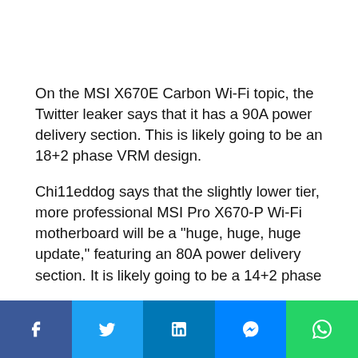On the MSI X670E Carbon Wi-Fi topic, the Twitter leaker says that it has a 90A power delivery section. This is likely going to be an 18+2 phase VRM design.
Chi11eddog says that the slightly lower tier, more professional MSI Pro X670-P Wi-Fi motherboard will be a "huge, huge, huge update," featuring an 80A power delivery section. It is likely going to be a 14+2 phase...
[Figure (other): Social sharing bar with Facebook, Twitter, LinkedIn, Messenger, and WhatsApp buttons]